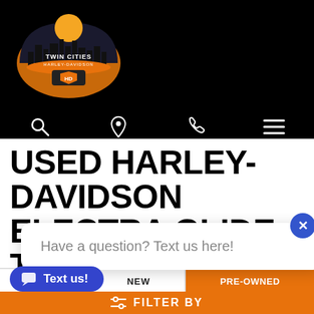[Figure (logo): Twin Cities Harley-Davidson logo with orange/black semicircle, city skyline silhouette, and bar & shield emblem]
[Figure (infographic): Navigation icon bar with search, location pin, phone, and hamburger menu icons on black background]
USED HARLEY-DAVIDSON ELECTRA GLIDE TOURING MOTORCYCLE FOR SALE NEAR ST. PAUL, MINNESOTA
Have a question? Text us here!
NEW
PRE-OWNED
FILTER BY